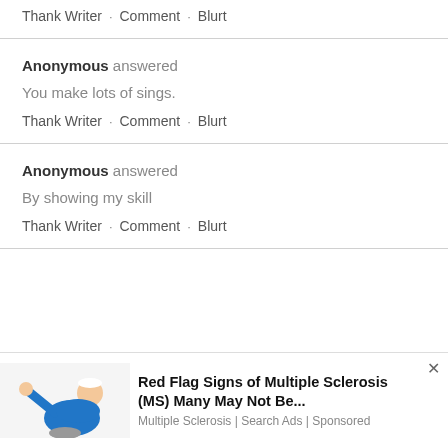Thank Writer · Comment · Blurt
Anonymous answered
You make lots of sings.
Thank Writer · Comment · Blurt
Anonymous answered
By showing my skill
Thank Writer · Comment · Blurt
[Figure (infographic): Advertisement banner for 'Red Flag Signs of Multiple Sclerosis (MS) Many May Not Be...' from Multiple Sclerosis | Search Ads | Sponsored, with an illustration of a person in a blue shirt on the left side.]